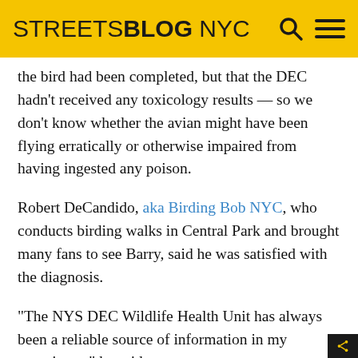STREETSBLOG NYC
the bird had been completed, but that the DEC hadn't received any toxicology results — so we don't know whether the avian might have been flying erratically or otherwise impaired from having ingested any poison.
Robert DeCandido, aka Birding Bob NYC, who conducts birding walks in Central Park and brought many fans to see Barry, said he was satisfied with the diagnosis.
“The NYS DEC Wildlife Health Unit has always been a reliable source of information in my experience,” he said.